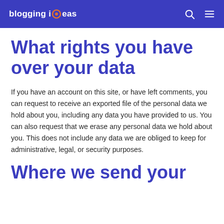blogging ideas
What rights you have over your data
If you have an account on this site, or have left comments, you can request to receive an exported file of the personal data we hold about you, including any data you have provided to us. You can also request that we erase any personal data we hold about you. This does not include any data we are obliged to keep for administrative, legal, or security purposes.
Where we send your